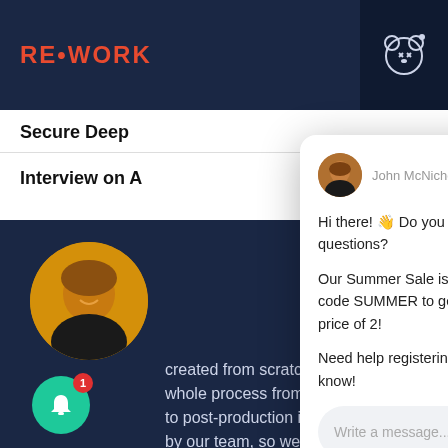[Figure (screenshot): RE•WORK website screenshot with a live chat popup from John McNicholas. The popup shows a greeting with wave emoji, a Summer Sale discount code offer (SUMMER – 3 tickets for price of 2), and help registering. Below is a message input bar. The page background is dark navy with navigation items 'Secure Deep' and 'Interview on A' visible. A green notification bell with badge '1', a person photo, and a yellow app icon are also visible.]